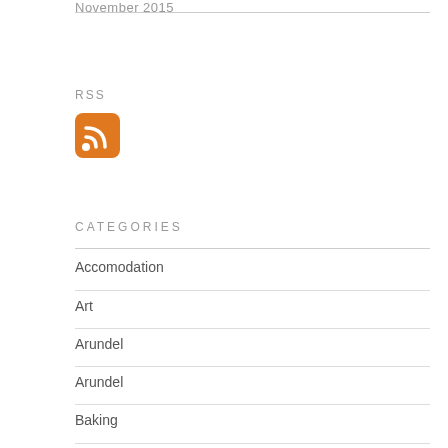November 2015
RSS
[Figure (logo): RSS feed icon: orange rounded square with white RSS signal waves]
CATEGORIES
Accomodation
Art
Arundel
Arundel
Baking
Bullet Cross Sword...